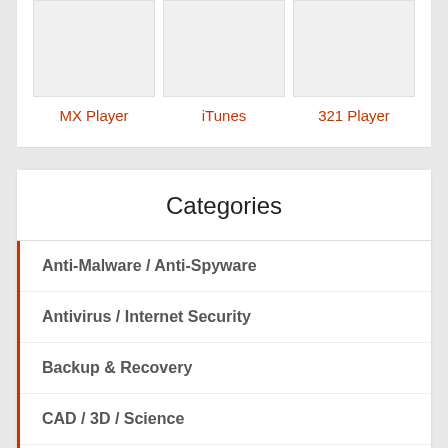MX Player
iTunes
321 Player
Categories
Anti-Malware / Anti-Spyware
Antivirus / Internet Security
Backup & Recovery
CAD / 3D / Science
CD / DVD Burning & Ripping
Communications Tools
Compression Tools